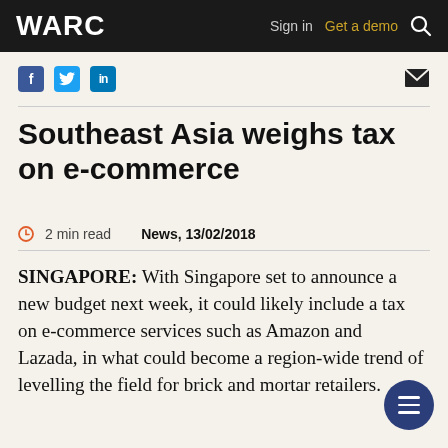WARC   Sign in   Get a demo
[Figure (infographic): Social media sharing icons: Facebook (blue square with f), Twitter (light blue bird icon square), LinkedIn (blue square with in). Mail/envelope icon on the right.]
Southeast Asia weighs tax on e-commerce
2 min read   News, 13/02/2018
SINGAPORE: With Singapore set to announce a new budget next week, it could likely include a tax on e-commerce services such as Amazon and Lazada, in what could become a region-wide trend of levelling the field for brick and mortar retailers.